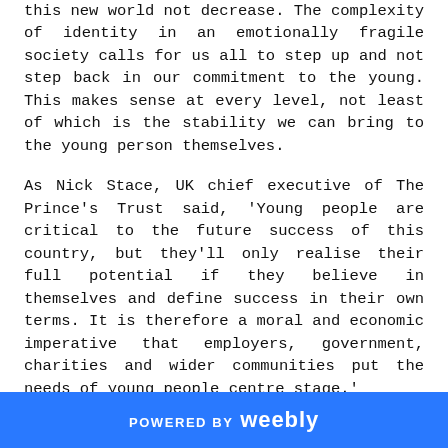this new world not decrease. The complexity of identity in an emotionally fragile society calls for us all to step up and not step back in our commitment to the young. This makes sense at every level, not least of which is the stability we can bring to the young person themselves.
As Nick Stace, UK chief executive of The Prince's Trust said, 'Young people are critical to the future success of this country, but they'll only realise their full potential if they believe in themselves and define success in their own terms. It is therefore a moral and economic imperative that employers, government, charities and wider communities put the needs of young people centre stage.'
POWERED BY weebly